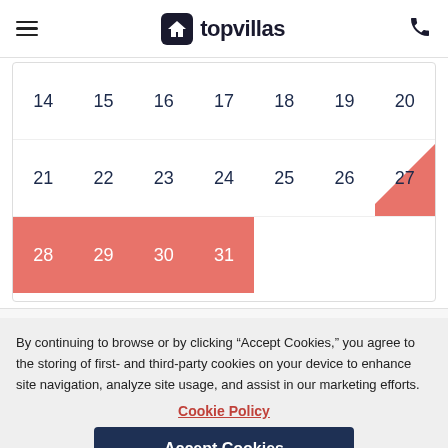topvillas
[Figure (other): Calendar showing dates 14-31 with dates 27-31 highlighted in red/salmon color indicating booked or selected period. Days 28-31 fully highlighted, day 27 has a triangle highlight in the corner.]
By continuing to browse or by clicking “Accept Cookies,” you agree to the storing of first- and third-party cookies on your device to enhance site navigation, analyze site usage, and assist in our marketing efforts.
Cookie Policy
Accept Cookies